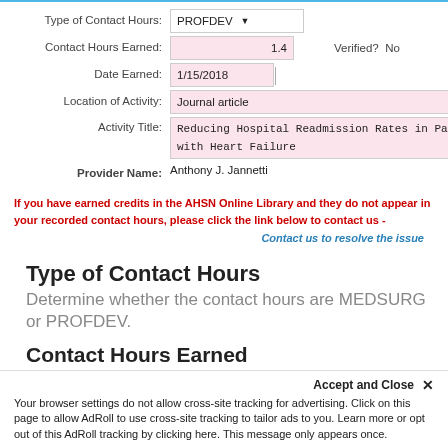[Figure (screenshot): Web form showing contact hours entry fields: Type of Contact Hours (PROFDEV dropdown), Contact Hours Earned (1.4, Verified? No), Date Earned (1/15/2018), Location of Activity (Journal article), Activity Title (Reducing Hospital Readmission Rates in Patients with Heart Failure), Provider Name (Anthony J. Jannetti)]
If you have earned credits in the AHSN Online Library and they do not appear in your recorded contact hours, please click the link below to contact us -
Contact us to resolve the issue
Type of Contact Hours
Determine whether the contact hours are MEDSURG or PROFDEV.
Contact Hours Earned
Amount of contact hours awarded per certificate.
Date Earned
If the activity was over a series of dates, enter last
Accept and Close ✕
Your browser settings do not allow cross-site tracking for advertising. Click on this page to allow AdRoll to use cross-site tracking to tailor ads to you. Learn more or opt out of this AdRoll tracking by clicking here. This message only appears once.